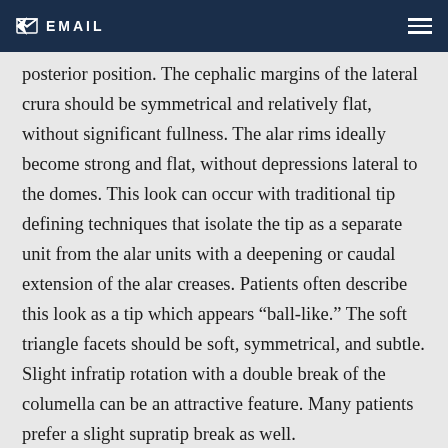EMAIL
posterior position. The cephalic margins of the lateral crura should be symmetrical and relatively flat, without significant fullness. The alar rims ideally become strong and flat, without depressions lateral to the domes. This look can occur with traditional tip defining techniques that isolate the tip as a separate unit from the alar units with a deepening or caudal extension of the alar creases. Patients often describe this look as a tip which appears “ball-like.” The soft triangle facets should be soft, symmetrical, and subtle. Slight infratip rotation with a double break of the columella can be an attractive feature. Many patients prefer a slight supratip break as well.